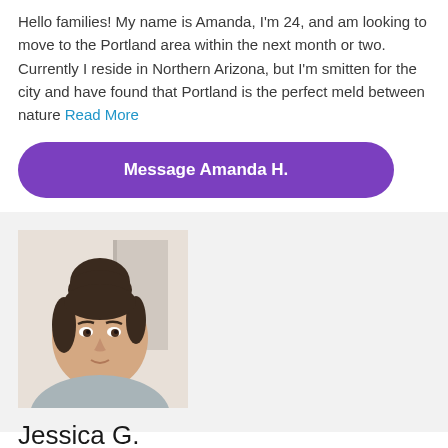Hello families! My name is Amanda, I'm 24, and am looking to move to the Portland area within the next month or two. Currently I reside in Northern Arizona, but I'm smitten for the city and have found that Portland is the perfect meld between nature Read More
Message Amanda H.
[Figure (photo): Profile photo of Jessica G., a young woman with dark hair in a bun, wearing a gray top, photographed indoors against a light background.]
Jessica G.